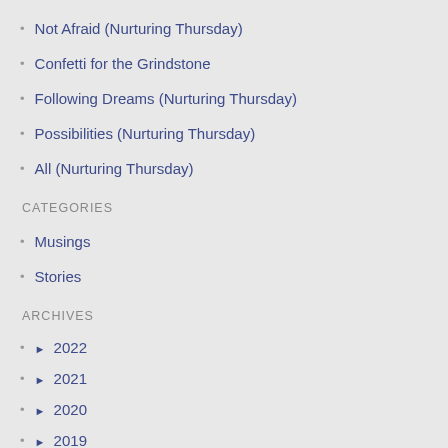Not Afraid (Nurturing Thursday)
Confetti for the Grindstone
Following Dreams (Nurturing Thursday)
Possibilities (Nurturing Thursday)
All (Nurturing Thursday)
CATEGORIES
Musings
Stories
ARCHIVES
► 2022
► 2021
► 2020
► 2019
► 2018
► 2017